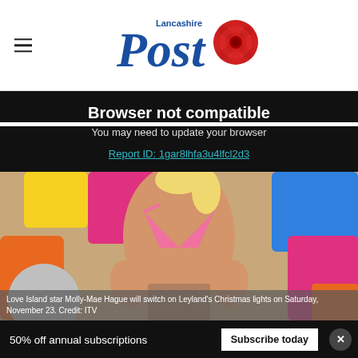Lancashire Post
Browser not compatible
You may need to update your browser
Report ID: 1gar8lhfa3u4lfcl2d3
[Figure (photo): Love Island star Molly-Mae Hague in a pink bikini top, posing in front of a colourful background]
Love Island star Molly-Mae Hague will switch on Leyland's Christmas lights on Saturday, November 23. Credit: ITV
50% off annual subscriptions  Subscribe today